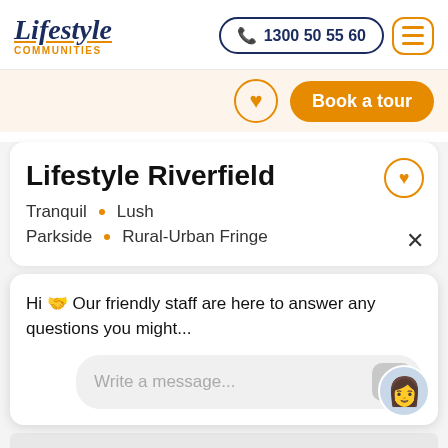Lifestyle Communities | 1300 50 55 60
Book a tour
Lifestyle Riverfield
Tranquil • Lush
Parkside • Rural-Urban Fringe
Hi 👋 Our friendly staff are here to answer any questions you might...
Write a message...